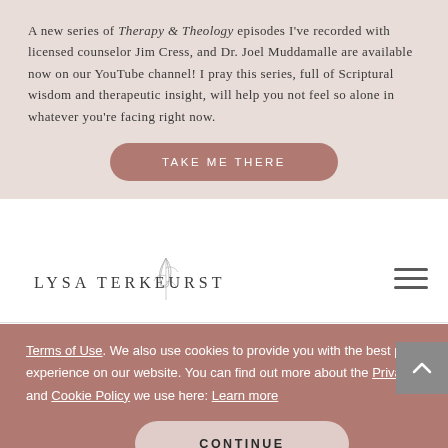A new series of Therapy & Theology episodes I've recorded with licensed counselor Jim Cress, and Dr. Joel Muddamalle are available now on our YouTube channel! I pray this series, full of Scriptural wisdom and therapeutic insight, will help you not feel so alone in whatever you're facing right now.
[Figure (screenshot): Button labeled TAKE ME THERE with rounded corners on pink/mauve background]
[Figure (logo): Lysa TerKeurst logo with botanical illustration and hamburger menu icon]
Terms of Use. We also use cookies to provide you with the best possible experience on our website. You can find out more about the Privacy Policy and Cookie Policy we use here: Learn more
[Figure (screenshot): CONTINUE button with rounded corners on cookie consent banner]
Michelle on August 30, 2014 at 7:01 am